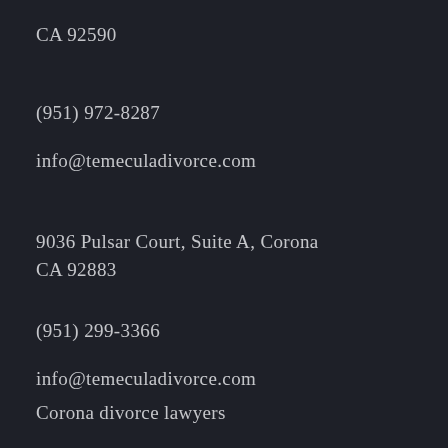CA 92590
(951) 972-8287
info@temeculadivorce.com
9036 Pulsar Court, Suite A, Corona CA 92883
(951) 299-3366
info@temeculadivorce.com
Corona divorce lawyers